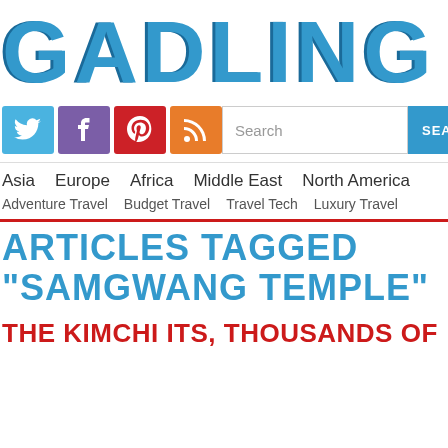GADLING
[Figure (logo): Social media icons: Twitter (blue), Facebook (purple), Pinterest (red), RSS (orange)]
Search
Asia   Europe   Africa   Middle East   North America   Adventure Travel   Budget Travel   Travel Tech   Luxury Travel
ARTICLES TAGGED
"SAMGWANG TEMPLE"
THE KIMCHI ITS. THOUSANDS OF